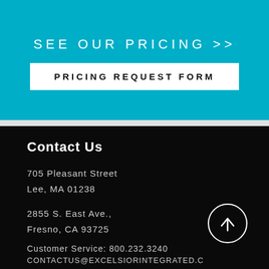SEE OUR PRICING >>
PRICING REQUEST FORM
Contact Us
705 Pleasant Street
Lee, MA 01238
2855 S. East Ave.,
Fresno, CA 93725
Customer Service: 800.232.3240
CONTACTUS@EXCELSIORINTEGRATED.C